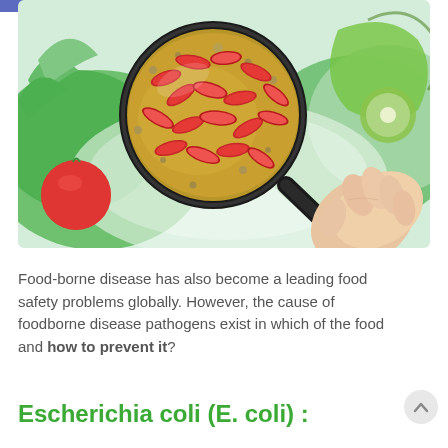[Figure (photo): A salad bowl with fresh vegetables (lettuce, tomatoes, peppers) in the background. A hand holds a magnifying glass over the food showing enlarged red E. coli bacteria on a brown/green background under the lens.]
Food-borne disease has also become a leading food safety problems globally. However, the cause of foodborne disease pathogens exist in which of the food and how to prevent it?
Escherichia coli (E. coli) :